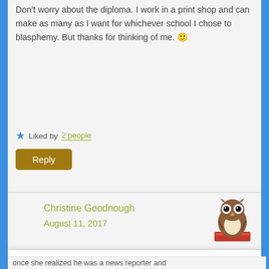Don't worry about the diploma. I work in a print shop and can make as many as I want for whichever school I chose to blasphemy. But thanks for thinking of me. 🙂
Liked by 2 people
Reply
Christine Goodnough
August 11, 2017
[Figure (illustration): Cartoon owl avatar sitting on a red book, used as commenter profile image]
Privacy & Cookies: This site uses cookies. By continuing to use this website, you agree to their use.
To find out more, including how to control cookies, see here: Cookie Policy
Close and accept
once she realized he was a news reporter and